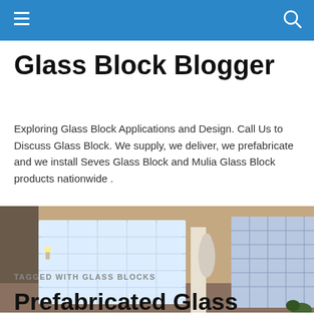Glass Block Blogger — navigation header with hamburger menu and search icon
Glass Block Blogger
Exploring Glass Block Applications and Design. Call Us to Discuss Glass Block. We supply, we deliver, we prefabricate and we install Seves Glass Block and Mulia Glass Block products nationwide .
[Figure (photo): Interior room featuring a large glass block window on the left wall letting in diffused light, a white classical statue in the center, and a glass block wall partition on the right side of the room.]
TAGGED WITH GLASS BLOCKS
Prefabricated Glass Block